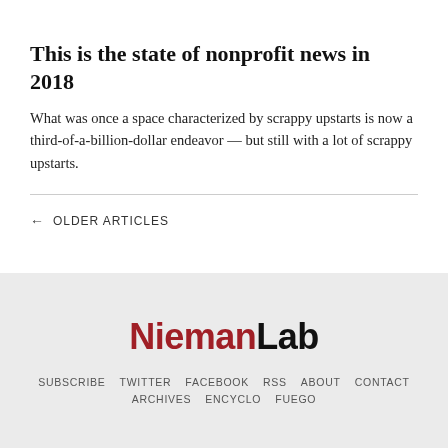This is the state of nonprofit news in 2018
What was once a space characterized by scrappy upstarts is now a third-of-a-billion-dollar endeavor — but still with a lot of scrappy upstarts.
← OLDER ARTICLES
NiemanLab   SUBSCRIBE   TWITTER   FACEBOOK   RSS   ABOUT   CONTACT   ARCHIVES   ENCYCLO   FUEGO